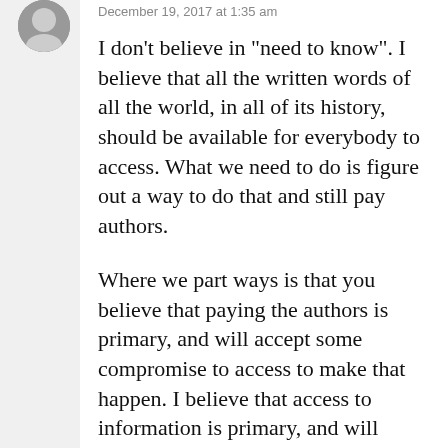December 19, 2017 at 1:35 am
I don’t believe in “need to know”. I believe that all the written words of all the world, in all of its history, should be available for everybody to access. What we need to do is figure out a way to do that and still pay authors.
Where we part ways is that you believe that paying the authors is primary, and will accept some compromise to access to make that happen. I believe that access to information is primary, and will accept some